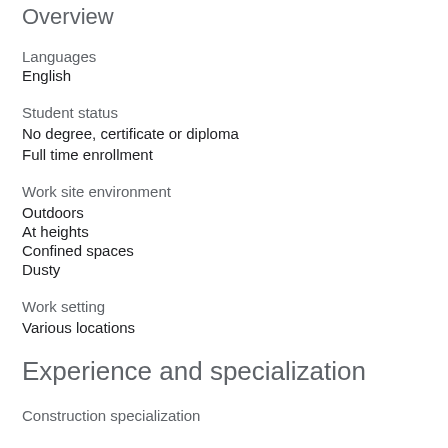Overview
Languages
English
Student status
No degree, certificate or diploma
Full time enrollment
Work site environment
Outdoors
At heights
Confined spaces
Dusty
Work setting
Various locations
Experience and specialization
Construction specialization